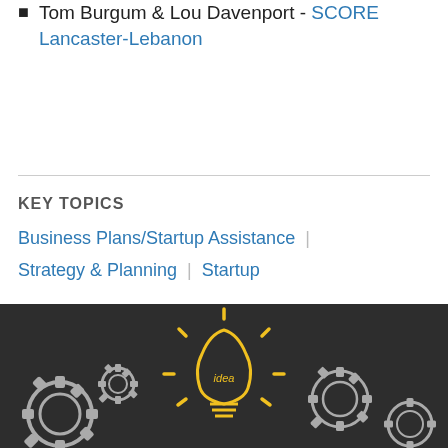Tom Burgum & Lou Davenport - SCORE Lancaster-Lebanon
KEY TOPICS
Business Plans/Startup Assistance | Strategy & Planning | Startup
[Figure (illustration): Dark chalkboard background with white gear/cog illustrations and a yellow glowing light bulb with 'idea' written inside, surrounded by gears]